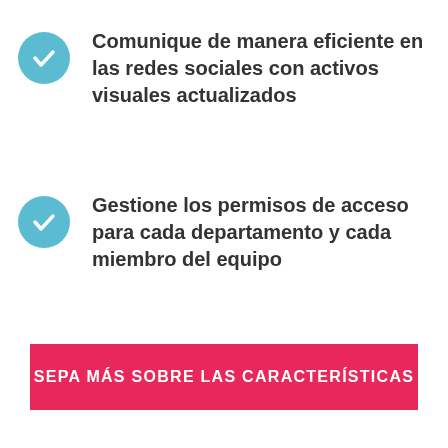Comunique de manera eficiente en las redes sociales con activos visuales actualizados
Gestione los permisos de acceso para cada departamento y cada miembro del equipo
SEPA MÁS SOBRE LAS CARACTERÍSTICAS